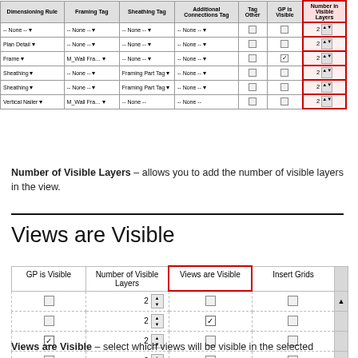[Figure (screenshot): Top portion of a data grid/table showing Dimensioning Rule, Framing Tag, Sheathing Tag, Additional Connections Tag, Tag Other, GP is Visible, and Number in Visible Layers columns with rows for None, Plan Detail, Frame, Sheathing (x2), and Vertical Nailer. The 'Number in Visible Layers' column is highlighted with a red border.]
Number of Visible Layers – allows you to add the number of visible layers in the view.
Views are Visible
[Figure (screenshot): Bottom portion of a data grid/table showing GP is Visible, Number of Visible Layers, Views are Visible (highlighted with red border), and Insert Grids columns with 6 data rows containing checkboxes, spinners, and a scrollbar. Row 2 has a checkmark in Views are Visible; Row 3 has a checkmark in GP is Visible.]
Views are Visible – select which views will be visible in the selected